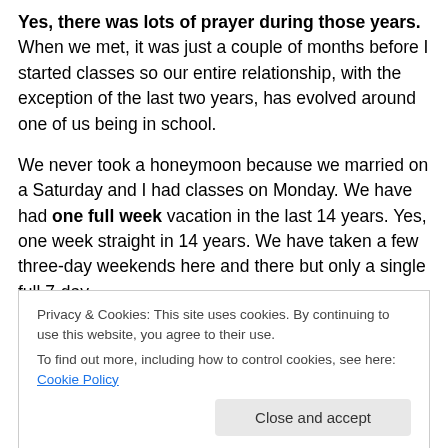Yes, there was lots of prayer during those years. When we met, it was just a couple of months before I started classes so our entire relationship, with the exception of the last two years, has evolved around one of us being in school.

We never took a honeymoon because we married on a Saturday and I had classes on Monday. We have had one full week vacation in the last 14 years. Yes, one week straight in 14 years. We have taken a few three-day weekends here and there but only a single full 7-day
Privacy & Cookies: This site uses cookies. By continuing to use this website, you agree to their use.
To find out more, including how to control cookies, see here: Cookie Policy
we are tired. We are tired but we renew our strength in